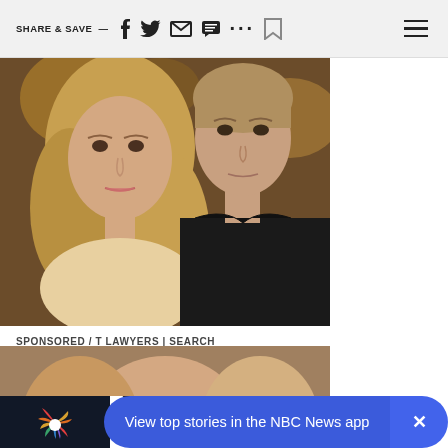SHARE & SAVE —  [social icons]  ☰
[Figure (photo): Two people posing together — a blonde woman on the left and a man in a dark shirt on the right, against a warm-lit background.]
SPONSORED / T LAWYERS | SEARCH
The Most Famous Attorneys In Ashburn - See the List
[Figure (photo): Partial view of a second photo at the bottom of the page, showing a woman's face.]
View top stories in the NBC News app